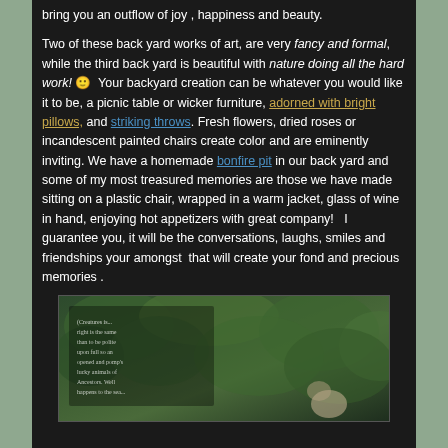bring you an outflow of joy , happiness and beauty.
Two of these back yard works of art, are very fancy and formal, while the third back yard is beautiful with nature doing all the hard work! 🙂  Your backyard creation can be whatever you would like it to be, a picnic table or wicker furniture, adorned with bright pillows, and striking throws. Fresh flowers, dried roses or incandescent painted chairs create color and are eminently inviting. We have a homemade bonfire pit in our back yard and some of my most treasured memories are those we have made sitting on a plastic chair, wrapped in a warm jacket, glass of wine in hand, enjoying hot appetizers with great company!   I guarantee you, it will be the conversations, laughs, smiles and friendships your amongst  that will create your fond and precious memories .
[Figure (photo): A garden/backyard scene with lush green foliage and a framed image with text overlay, possibly a nature quote or poem]